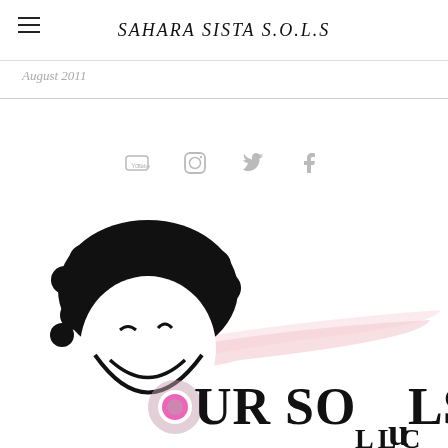SAHARA SISTA S.O.L.S
August 2011
[Figure (logo): Social media icons row: YouTube, Instagram, Twitter, Facebook in light gray]
[Figure (logo): Our Souls LLC logo: cartoon face with afro hair in black, pink swash, text OUR SOuLS LLC in bold serif font with a pink/gray circular O element]